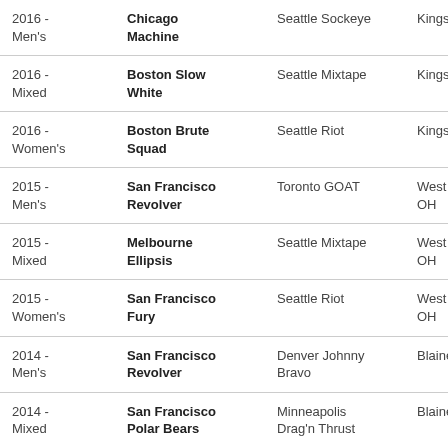| 2016 - Men's | Chicago Machine | Seattle Sockeye | Kingston, RI |
| 2016 - Mixed | Boston Slow White | Seattle Mixtape | Kingston, RI |
| 2016 - Women's | Boston Brute Squad | Seattle Riot | Kingston, RI |
| 2015 - Men's | San Francisco Revolver | Toronto GOAT | West Chester, OH |
| 2015 - Mixed | Melbourne Ellipsis | Seattle Mixtape | West Chester, OH |
| 2015 - Women's | San Francisco Fury | Seattle Riot | West Chester, OH |
| 2014 - Men's | San Francisco Revolver | Denver Johnny Bravo | Blaine, MN |
| 2014 - Mixed | San Francisco Polar Bears | Minneapolis Drag'n Thrust | Blaine, MN |
| 2014 - Women's | Seattle Riot | Boston Brute Squad | Blaine, MN |